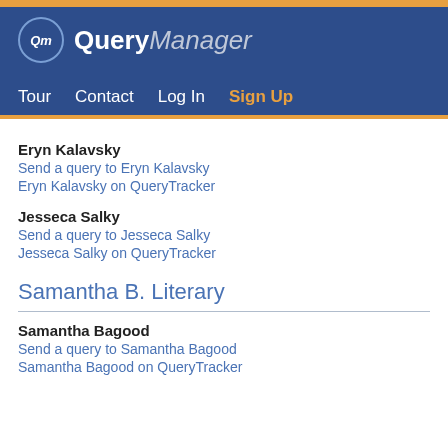QueryManager — Tour | Contact | Log In | Sign Up
Eryn Kalavsky
Send a query to Eryn Kalavsky
Eryn Kalavsky on QueryTracker
Jesseca Salky
Send a query to Jesseca Salky
Jesseca Salky on QueryTracker
Samantha B. Literary
Samantha Bagood
Send a query to Samantha Bagood
Samantha Bagood on QueryTracker